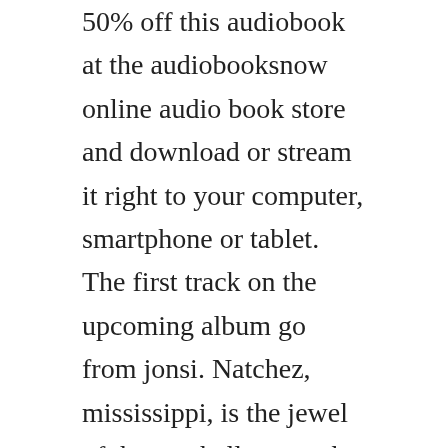50% off this audiobook at the audiobooksnow online audio book store and download or stream it right to your computer, smartphone or tablet. The first track on the upcoming album go from jonsi. Natchez, mississippi, is the jewel of the antebellum south, a city.
I made a quiet book for buddy to play with on the plane. This was an excellent story that really touches you in your heart. Quiet ebook by susan cain 9780307452207 rakuten kobo. I was reticent to read it, as the synopsis stated that the narrator was a recently deceased mother of three, which set her afterlife sto...